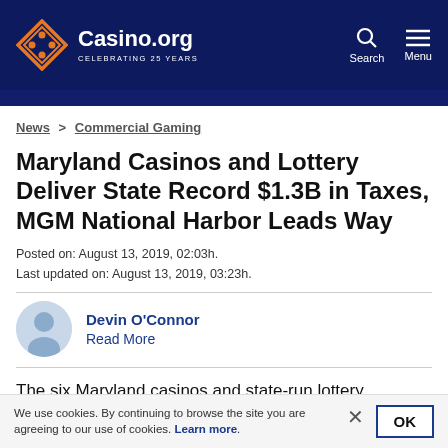Casino.org CELEBRATING 25 YEARS | Search | Menu
News > Commercial Gaming
Maryland Casinos and Lottery Deliver State Record $1.3B in Taxes, MGM National Harbor Leads Way
Posted on: August 13, 2019, 02:03h.
Last updated on: August 13, 2019, 03:23h.
Devin O'Connor
Read More
The six Maryland casinos and state-run lottery combined to deliver more than $1.3 billion in tax revenue to the Annapolis
We use cookies. By continuing to browse the site you are agreeing to our use of cookies. Learn more.